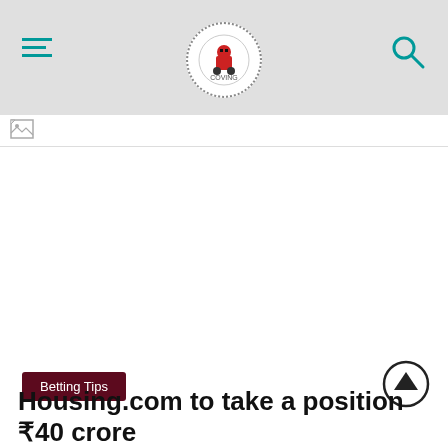Navigation header with hamburger menu, logo, and search icon
[Figure (logo): Circular logo with dotted border, red pixel-art figure inside]
[Figure (photo): Broken image placeholder icon in a thin bar below the header]
Betting Tips
Housing.com to take a position ₹40 crore